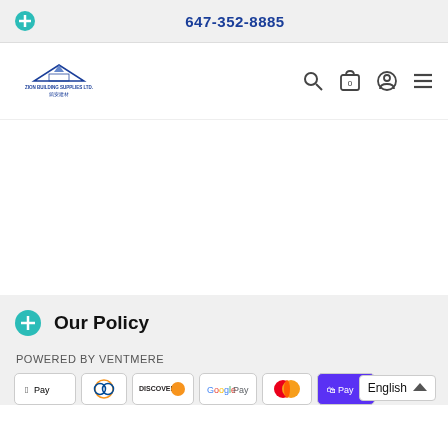647-352-8885
[Figure (logo): Zion Building Supplies Ltd. logo with mountain/house shape in dark blue, English and Chinese text below]
Our Policy
POWERED BY VENTMERE
[Figure (infographic): Payment method badges: Apple Pay, Diners Club, Discover, Google Pay, Mastercard, ShopPay, and English language selector]